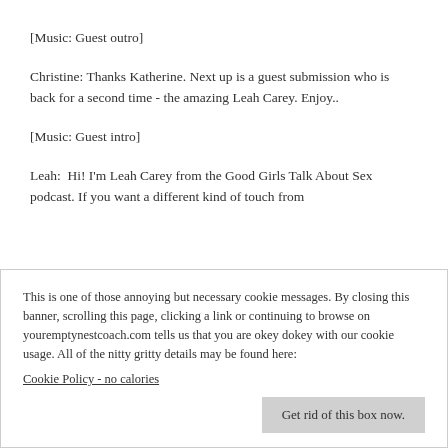[Music: Guest outro]
Christine: Thanks Katherine. Next up is a guest submission who is back for a second time - the amazing Leah Carey. Enjoy..
[Music: Guest intro]
Leah:  Hi! I'm Leah Carey from the Good Girls Talk About Sex podcast. If you want a different kind of touch from
This is one of those annoying but necessary cookie messages. By closing this banner, scrolling this page, clicking a link or continuing to browse on youremptynestcoach.com tells us that you are okey dokey with our cookie usage. All of the nitty gritty details may be found here:
Cookie Policy - no calories
Get rid of this box now.
that they desire for three minutes and their only job is to